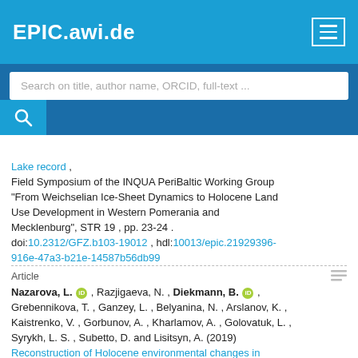EPIC.awi.de
Search on title, author name, ORCID, full-text …
Lake record ,
Field Symposium of the INQUA PeriBaltic Working Group "From Weichselian Ice-Sheet Dynamics to Holocene Land Use Development in Western Pomerania and Mecklenburg", STR 19 , pp. 23-24 .
doi:10.2312/GFZ.b103-19012 , hdl:10013/epic.21929396-916e-47a3-b21e-14587b56db99
Article
Nazarova, L., Razjigaeva, N. , Diekmann, B., Grebennikova, T. , Ganzey, L. , Belyanina, N. , Arslanov, K. , Kaistrenko, V. , Gorbunov, A. , Kharlamov, A. , Golovatuk, L. , Syrykh, L. S. , Subetto, D. and Lisitsyn, A. (2019)
Reconstruction of Holocene environmental changes in North-Western Pacific in relation to paleorecord from Shikotan Island ,
Doklady Earth Sciences, 486 (1), pp. 494-497 .